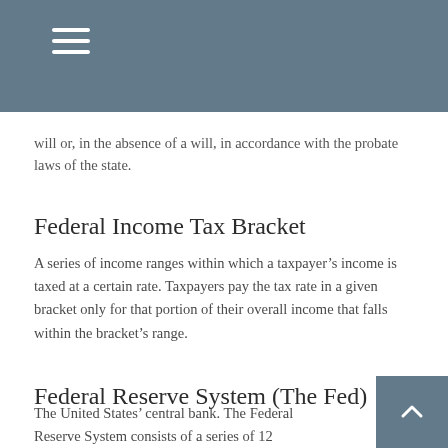will or, in the absence of a will, in accordance with the probate laws of the state.
Federal Income Tax Bracket
A series of income ranges within which a taxpayer's income is taxed at a certain rate. Taxpayers pay the tax rate in a given bracket only for that portion of their overall income that falls within the bracket's range.
Federal Reserve System (The Fed)
The United States' central bank. The Federal Reserve System consists of a series of 12 independent banks that operate under the supervision of a seven-member, federally appointed board of governors. The Fed strives to maintain maximum employment, stable price levels, and moderate long-term interest rates. It establishes and